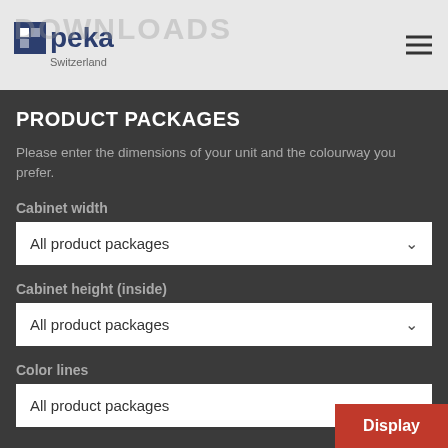[Figure (logo): Peka Switzerland logo with blue square icon and text, on a light grey header bar with DOWNLOADS text in background and hamburger menu icon on right]
PRODUCT PACKAGES
Please enter the dimensions of your unit and the colourway you prefer.
Cabinet width
All product packages
Cabinet height (inside)
All product packages
Color lines
All product packages
Display